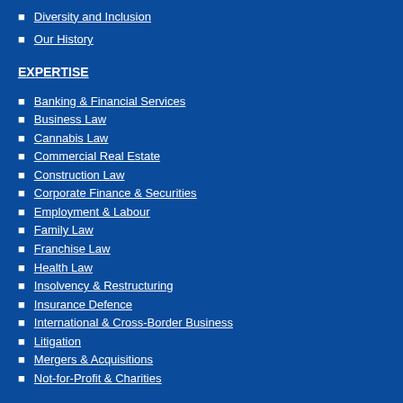Diversity and Inclusion
Our History
EXPERTISE
Banking & Financial Services
Business Law
Cannabis Law
Commercial Real Estate
Construction Law
Corporate Finance & Securities
Employment & Labour
Family Law
Franchise Law
Health Law
Insolvency & Restructuring
Insurance Defence
International & Cross-Border Business
Litigation
Mergers & Acquisitions
Not-for-Profit & Charities